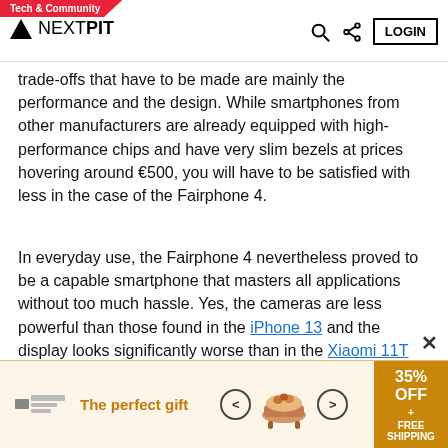Tech & Community | NEXTPIT
trade-offs that have to be made are mainly the performance and the design. While smartphones from other manufacturers are already equipped with high-performance chips and have very slim bezels at prices hovering around €500, you will have to be satisfied with less in the case of the Fairphone 4.
In everyday use, the Fairphone 4 nevertheless proved to be a capable smartphone that masters all applications without too much hassle. Yes, the cameras are less powerful than those found in the iPhone 13 and the display looks significantly worse than in the Xiaomi 11T Pro. But that's not what matters when you buy the Fairphone 4.
[Figure (infographic): Advertisement banner for 'The perfect gift' showing 35% OFF + FREE SHIPPING offer with food product image]